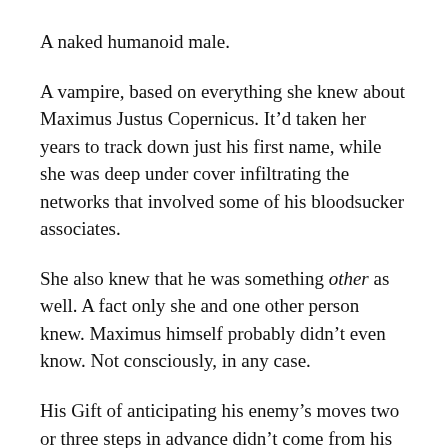A naked humanoid male.
A vampire, based on everything she knew about Maximus Justus Copernicus. It’d taken her years to track down just his first name, while she was deep under cover infiltrating the networks that involved some of his bloodsucker associates.
She also knew that he was something other as well. A fact only she and one other person knew. Maximus himself probably didn’t even know. Not consciously, in any case.
His Gift of anticipating his enemy’s moves two or three steps in advance didn’t come from his vampire side. They were merely the tip of the iceberg for what he was capable of. All the power and aggression and savagery he kept carefully leashed within him. Never once, in the millennia of his existence, revealing his true self.